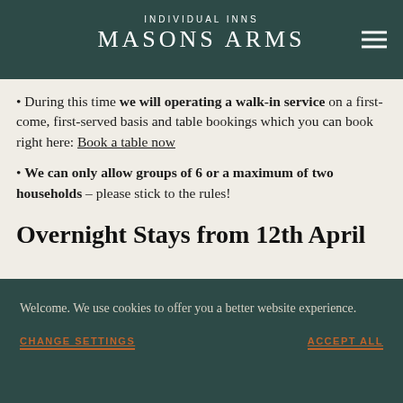INDIVIDUAL INNS / MASONS ARMS
Until 10th May, we will only be serving outside.
You don't need to order a substantial meal – if
During this time we will operating a walk-in service on a first-come, first-served basis and table bookings which you can book right here: Book a table now
We can only allow groups of 6 or a maximum of two households – please stick to the rules!
Overnight Stays from 12th April
Welcome. We use cookies to offer you a better website experience.
CHANGE SETTINGS   ACCEPT ALL